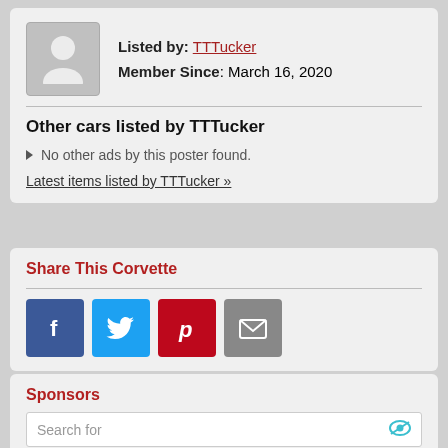Listed by: TTTucker
Member Since: March 16, 2020
Other cars listed by TTTucker
No other ads by this poster found.
Latest items listed by TTTucker »
Share This Corvette
[Figure (infographic): Social sharing buttons: Facebook, Twitter, Pinterest, Email]
Sponsors
Search for
1. LOCAL PERSONAL CLASSIFIEDS